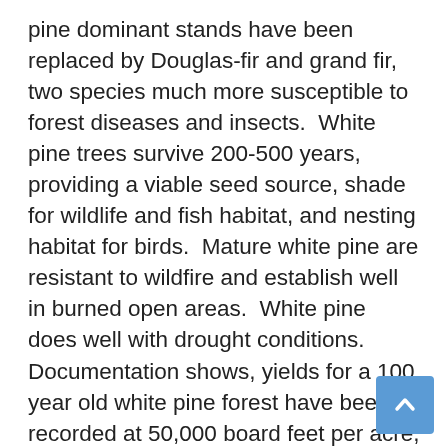pine dominant stands have been replaced by Douglas-fir and grand fir, two species much more susceptible to forest diseases and insects.  White pine trees survive 200-500 years, providing a viable seed source, shade for wildlife and fish habitat, and nesting habitat for birds.  Mature white pine are resistant to wildfire and establish well in burned open areas.  White pine does well with drought conditions.  Documentation shows, yields for a 100 year old white pine forest have been recorded at 50,000 board feet per acre, with historic old growth stands reaching volumes in excess of 100,000 board feet per acre. From a forest product standpoint, white pine is light colored, clear, straight